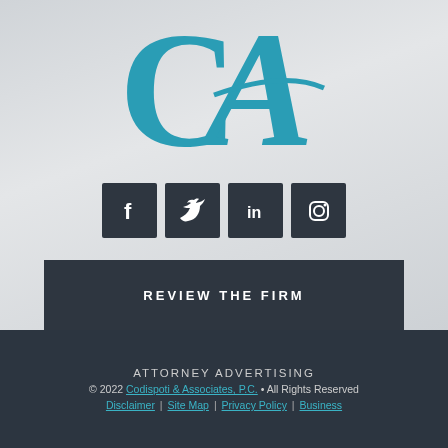[Figure (logo): CA monogram logo in teal/dark cyan color — large stylized letters C and A]
[Figure (infographic): Row of four dark square social media icon buttons: Facebook, Twitter, LinkedIn, Instagram]
REVIEW THE FIRM
ATTORNEY ADVERTISING
© 2022 Codispoti & Associates, P.C. • All Rights Reserved
Disclaimer | Site Map | Privacy Policy | Business